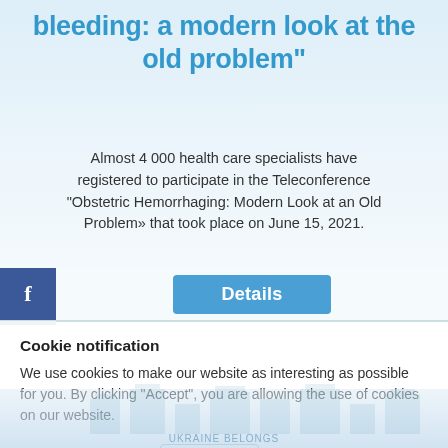bleeding: a modern look at the old problem"
Almost 4 000 health care specialists have registered to participate in the Teleconference “Obstetric Hemorrhaging: Modern Look at an Old Problem» that took place on June 15, 2021.
[Figure (screenshot): Facebook share button (dark blue square with 'f' logo) and a teal 'Details' button]
Cookie notification
We use cookies to make our website as interesting as possible for you. By clicking "Accept", you are allowing the use of cookies on our website.
✔ Accept    Read more